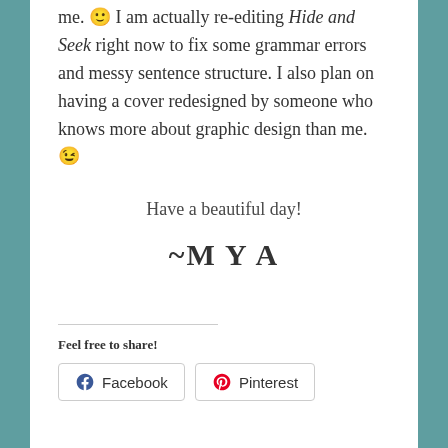me. 🙂 I am actually re-editing Hide and Seek right now to fix some grammar errors and messy sentence structure. I also plan on having a cover redesigned by someone who knows more about graphic design than me. 😉
Have a beautiful day!
~M Y A
Feel free to share!
[Figure (other): Social share buttons for Facebook and Pinterest]